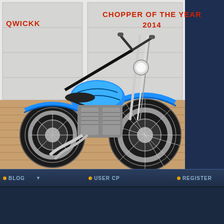[Figure (photo): A custom blue chopper motorcycle parked on a brick driveway in front of a white garage. The bike features extended front forks, chrome details, spoke wheels, and a bright metallic blue paint job. Text overlay reads QWICKK in red on the left and CHOPPER OF THE YEAR 2014 in red on the upper right.]
BLOG  USER CP  REGISTER
Club Chopper Forums
Portal  Register  Blogs  FAQ